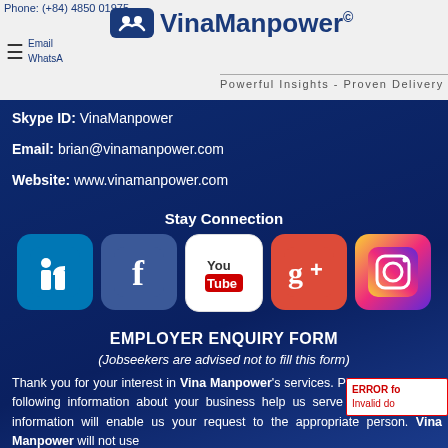Phone: (+84) 4850 01975
[Figure (logo): VinaManpower logo with blue icon and text, tagline: Powerful Insights - Proven Delivery]
Skype ID: VinaManpower
Email: brian@vinamanpower.com
Website: www.vinamanpower.com
Stay Connection
[Figure (illustration): Five social media icons: LinkedIn, Facebook, YouTube, Google+, Instagram]
EMPLOYER ENQUIRY FORM
(Jobseekers are advised not to fill this form)
Thank you for your interest in Vina Manpower's services. Please provide the following information about your business help us serve you better. This information will enable us your request to the appropriate person. Vina Manpower will not use
ERROR fo
Invalid do